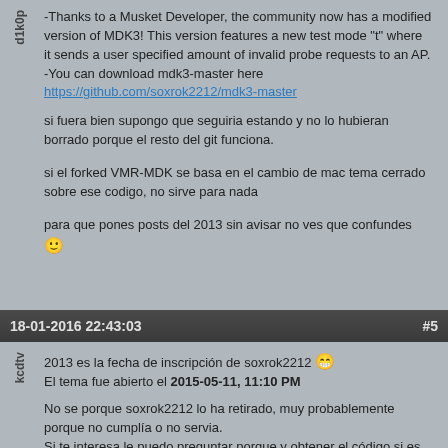-Thanks to a Musket Developer, the community now has a modified version of MDK3! This version features a new test mode "t" where it sends a user specified amount of invalid probe requests to an AP.
-You can download mdk3-master here   https://github.com/soxrok2212/mdk3-master
si fuera bien supongo que seguiria estando y no lo hubieran borrado porque el resto del git funciona.
si el forked VMR-MDK se basa en el cambio de mac tema cerrado sobre ese codigo, no sirve para nada
para que pones posts del 2013 sin avisar no ves que confundes 🙂
18-01-2016 22:43:03    #5
2013 es la fecha de inscripción de soxrok2212 😀
El tema fue abierto el 2015-05-11, 11:10 PM
No se porque soxrok2212 lo ha retirado, muy probablemente porque no cumplía o no servia.
Si te interesa le puedo preguntar porque y obtener el código si es posible
Lo que hacía esta nueva opcion "-t" es lo mismo que  un "SSID brute force" pero mandando solo SSID con caracteres "inválidos".
Cosa que al final se puede hacer de todo modo directamente con mdk3v6 y